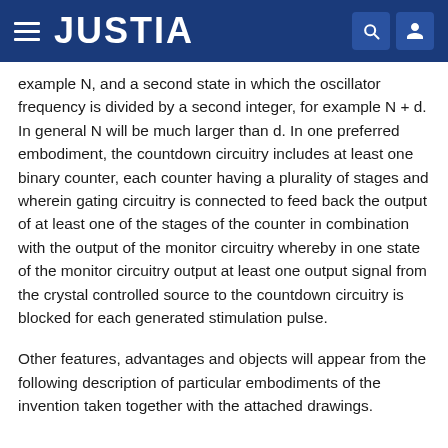JUSTIA
example N, and a second state in which the oscillator frequency is divided by a second integer, for example N + d. In general N will be much larger than d. In one preferred embodiment, the countdown circuitry includes at least one binary counter, each counter having a plurality of stages and wherein gating circuitry is connected to feed back the output of at least one of the stages of the counter in combination with the output of the monitor circuitry whereby in one state of the monitor circuitry output at least one output signal from the crystal controlled source to the countdown circuitry is blocked for each generated stimulation pulse.
Other features, advantages and objects will appear from the following description of particular embodiments of the invention taken together with the attached drawings.